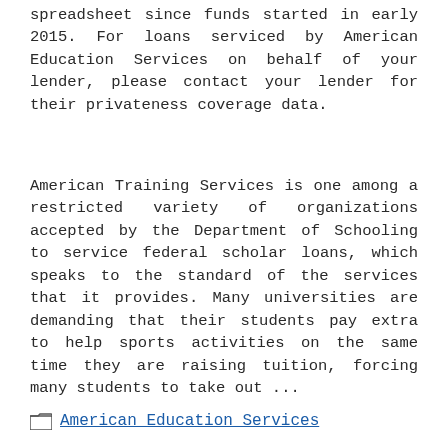spreadsheet since funds started in early 2015. For loans serviced by American Education Services on behalf of your lender, please contact your lender for their privateness coverage data.
American Training Services is one among a restricted variety of organizations accepted by the Department of Schooling to service federal scholar loans, which speaks to the standard of the services that it provides. Many universities are demanding that their students pay extra to help sports activities on the same time they are raising tuition, forcing many students to take out ...
American Education Services